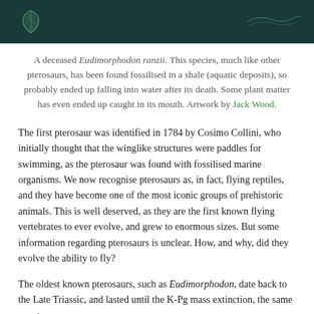[Figure (illustration): Dark teal/green background illustration showing a deceased Eudimorphodon ranzii pterosaur with plant matter, underwater scene]
A deceased Eudimorphodon ranzii. This species, much like other pterosaurs, has been found fossilised in a shale (aquatic deposits), so probably ended up falling into water after its death. Some plant matter has even ended up caught in its mouth. Artwork by Jack Wood.
The first pterosaur was identified in 1784 by Cosimo Collini, who initially thought that the winglike structures were paddles for swimming, as the pterosaur was found with fossilised marine organisms. We now recognise pterosaurs as, in fact, flying reptiles, and they have become one of the most iconic groups of prehistoric animals. This is well deserved, as they are the first known flying vertebrates to ever evolve, and grew to enormous sizes. But some information regarding pterosaurs is unclear. How, and why, did they evolve the ability to fly?
The oldest known pterosaurs, such as Eudimorphodon, date back to the Late Triassic, and lasted until the K-Pg mass extinction, the same event